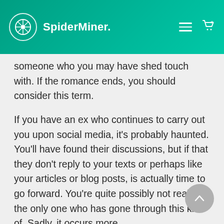SpiderMiner.
someone who you may have shed touch with. If the romance ends, you should consider this term.
If you have an ex who continues to carry out you upon social media, it’s probably haunted. You’ll have found their discussions, but if that they don’t reply to your texts or perhaps like your articles or blog posts, is actually time to go forward. You’re quite possibly not really the only one who has gone through this kind of. Sadly, it occurs more http://www.seribusatu.esy.es/about/ often you think. It is simple to receive trapped in the ghosting process when you are in touch with your ex lover.
Roaching is another common online dating term.